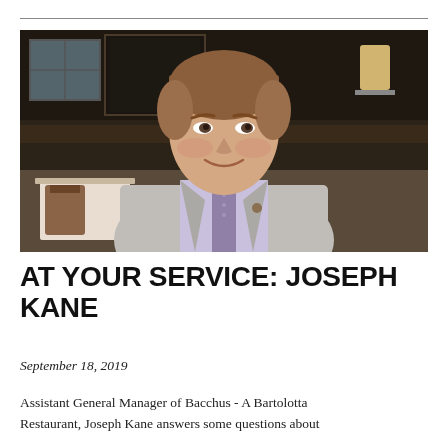[Figure (photo): Professional headshot of Joseph Kane, a man with reddish-brown hair wearing a light grey blazer, lavender dress shirt, and purple patterned tie, smiling in what appears to be an upscale restaurant interior with dark wood paneling and warm lighting in the background.]
AT YOUR SERVICE: JOSEPH KANE
September 18, 2019
Assistant General Manager of Bacchus - A Bartolotta Restaurant, Joseph Kane answers some questions about